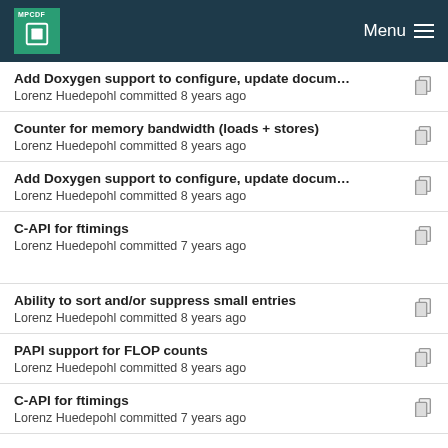MPCDF  Menu
Add Doxygen support to configure, update docum…
Lorenz Huedepohl committed 8 years ago
Counter for memory bandwidth (loads + stores)
Lorenz Huedepohl committed 8 years ago
Add Doxygen support to configure, update docum…
Lorenz Huedepohl committed 8 years ago
C-API for ftimings
Lorenz Huedepohl committed 7 years ago
Ability to sort and/or suppress small entries
Lorenz Huedepohl committed 8 years ago
PAPI support for FLOP counts
Lorenz Huedepohl committed 8 years ago
C-API for ftimings
Lorenz Huedepohl committed 7 years ago